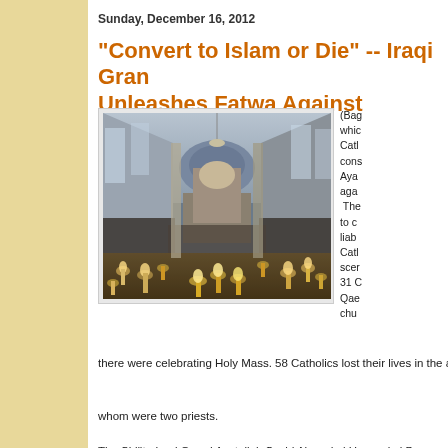Sunday, December 16, 2012
"Convert to Islam or Die" -- Iraqi Grand Ayatollah Unleashes Fatwa Against Christians
[Figure (photo): Interior of a Catholic church with rows of lit candles on the floor in the foreground. A crowd of people stands in the background near the altar. The church has high ceilings, arched windows, and a central dome painting.]
(Baghdad) -- A fatwa, which condemned Catholics, was consequently issued by Ayatollah al-Hassani against Christians. The fatwa, threatening to condemn them, held liable the bombing of the Catholic church -- the scene of the October 31 October 2010 Al-Qae... church...
there were celebrating Holy Mass. 58 Catholics lost their lives in the attack, among whom were two priests.
The Shi'ite Iraqi Grand Ayatollah Sayid Ahmad al Hassani al B...